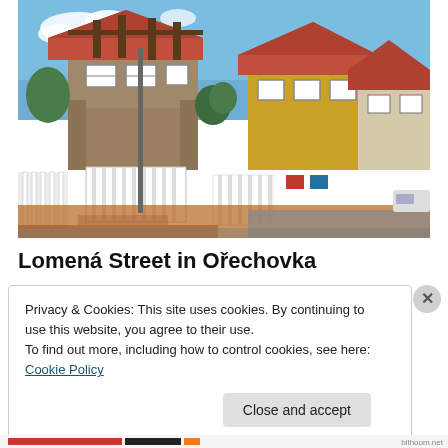[Figure (photo): Street view of residential houses on Lomená Street in Ořechovka. Shows multi-story houses with red/orange tiled roofs, white metal fence gates along the street, brick and plaster facades, blue sky with some clouds.]
Lomená Street in Ořechovka
Privacy & Cookies: This site uses cookies. By continuing to use this website, you agree to their use.
To find out more, including how to control cookies, see here: Cookie Policy
Close and accept